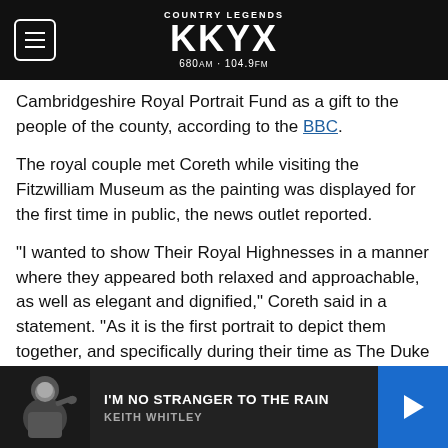COUNTRY LEGENDS KKYX 680AM · 104.9FM
Cambridgeshire Royal Portrait Fund as a gift to the people of the county, according to the BBC.
The royal couple met Coreth while visiting the Fitzwilliam Museum as the painting was displayed for the first time in public, the news outlet reported.
“I wanted to show Their Royal Highnesses in a manner where they appeared both relaxed and approachable, as well as elegant and dignified,” Coreth said in a statement. “As it is the first portrait to depict them together, and specifically during their time as The Duke and Duchess of Cambridge, I wanted the image to
[Figure (other): Music player bar at bottom. Black and white photo thumbnail of Keith Whitley on left. Song title 'I'M NO STRANGER TO THE RAIN' by 'KEITH WHITLEY'. Blue play button on right.]